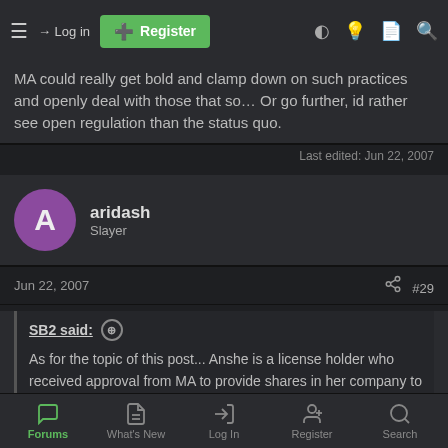Log in | Register (navigation bar)
MA could really get bold and clamp down on such practices and openly deal with those that so... Or go further, id rather see open regulation than the status quo.
Last edited: Jun 22, 2007
aridash
Slayer
Jun 22, 2007  #29
SB2 said: ⊕
As for the topic of this post... Anshe is a license holder who received approval from MA to provide shares in her company to players in EU and SL. As a license holder with prior approval from MA, she is allowed to move this experiment forward. This DOES NOT open the door to anyone outside the license holder to do the same because
Forums | What's New | Log In | Register | Search